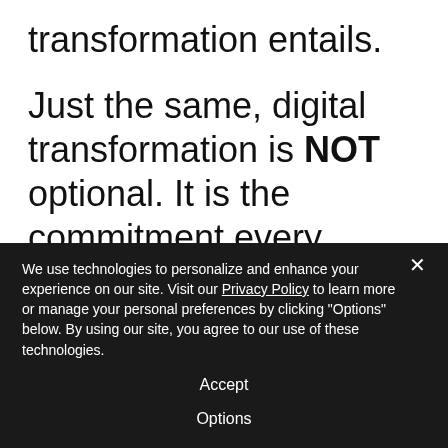transformation entails.

Just the same, digital transformation is NOT optional. It is the commitment every business enterprise and public sector organization must make to ensure its relevancy, its survival. Disruption is rampant. No one is safe. This is the reality of business today. The
We use technologies to personalize and enhance your experience on our site. Visit our Privacy Policy to learn more or manage your personal preferences by clicking "Options" below. By using our site, you agree to our use of these technologies.
Accept
Options